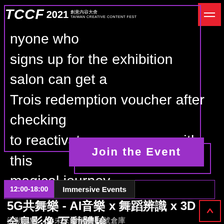TCCF 2021 創意內容大會 TAIWAN CREATIVE CONTENT FEST
nyone who signs up for the exhibition salon can get a Trois redemption voucher after checking to reactivate your senses with this magical journey.
Join the Event
12:00-18:00   Immersive Events
5G共舞樂 - AI音樂 x 舞蹈辨識 x 3D 全息影像 互動體驗
活動地點 ｜ 未來內容展 - 3號倉庫